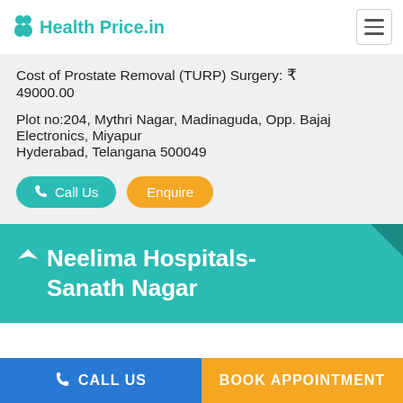Health Price.in
Cost of Prostate Removal (TURP) Surgery: ₹ 49000.00
Plot no:204, Mythri Nagar, Madinaguda, Opp. Bajaj Electronics, Miyapur
Hyderabad, Telangana 500049
Call Us   Enquire
Neelima Hospitals- Sanath Nagar
CALL US   BOOK APPOINTMENT